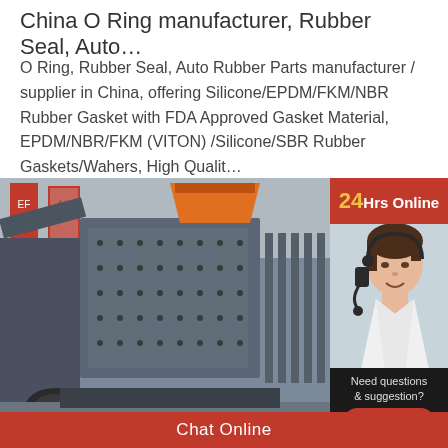China O Ring manufacturer, Rubber Seal, Auto…
O Ring, Rubber Seal, Auto Rubber Parts manufacturer / supplier in China, offering Silicone/EPDM/FKM/NBR Rubber Gasket with FDA Approved Gasket Material, EPDM/NBR/FKM (VITON) /Silicone/SBR Rubber Gaskets/Wahers, High Qualit…
[Figure (photo): Industrial heavy machinery (impact crusher) in a factory setting, with a Chinese customer service representative wearing a headset shown in a side panel with '24Hrs Online' badge and 'Need questions & suggestion? Chat Now' prompt]
Chat Online